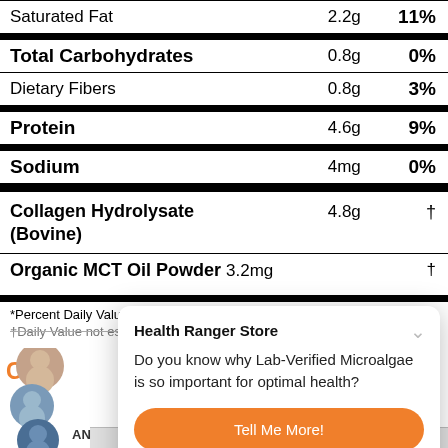| Nutrient | Amount | % DV |
| --- | --- | --- |
| Saturated Fat | 2.2g | 11% |
| Total Carbohydrates | 0.8g | 0% |
| Dietary Fibers | 0.8g | 3% |
| Protein | 4.6g | 9% |
| Sodium | 4mg | 0% |
| Collagen Hydrolysate (Bovine) | 4.8g | † |
| Organic MCT Oil Powder | 3.2mg | † |
*Percent Daily Values are based on a 2,000 calorie diet. †Daily Value not established
Health Ranger Store
Do you know why Lab-Verified Microalgae is so important for optimal health?
Tell Me More!
Maybe later.
Cu